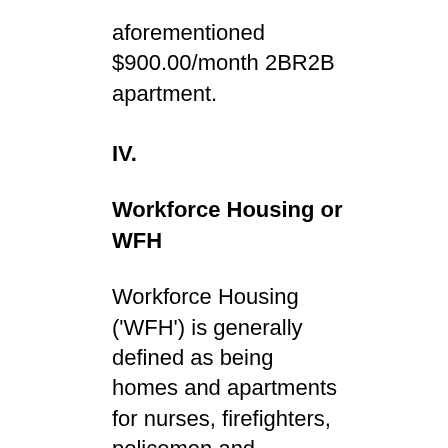aforementioned $900.00/month 2BR2B apartment.
IV.
Workforce Housing or WFH
Workforce Housing ('WFH') is generally defined as being homes and apartments for nurses, firefighters, policemen and teachers making between 60 and 120% of a local housing market's (i.e. usually